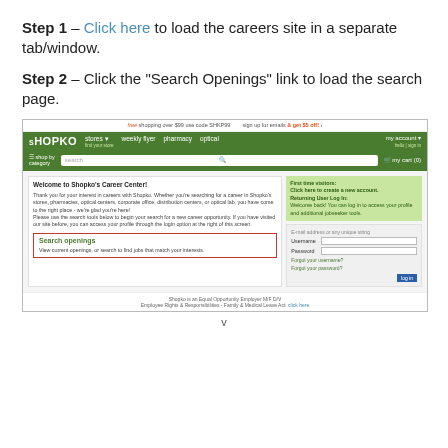Step 1 – Click here to load the careers site in a separate tab/window.
Step 2 – Click the “Search Openings” link to load the search page.
[Figure (screenshot): Screenshot of the Shopko careers website showing the green navigation bar with Shopko logo, store navigation links, search bar, and the Career Center page with a highlighted 'Search openings' box outlined in red.]
v